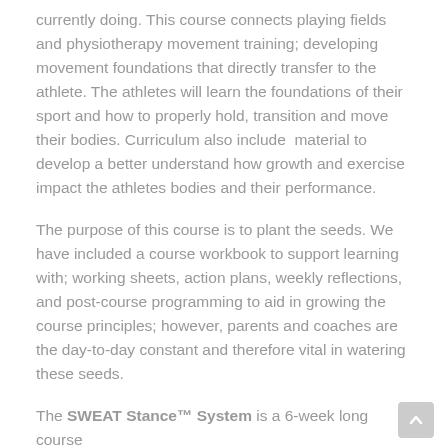currently doing. This course connects playing fields and physiotherapy movement training; developing movement foundations that directly transfer to the athlete. The athletes will learn the foundations of their sport and how to properly hold, transition and move their bodies. Curriculum also include  material to develop a better understand how growth and exercise impact the athletes bodies and their performance.
The purpose of this course is to plant the seeds. We have included a course workbook to support learning with; working sheets, action plans, weekly reflections, and post-course programming to aid in growing the course principles; however, parents and coaches are the day-to-day constant and therefore vital in watering these seeds.
The SWEAT Stance™ System is a 6-week long course